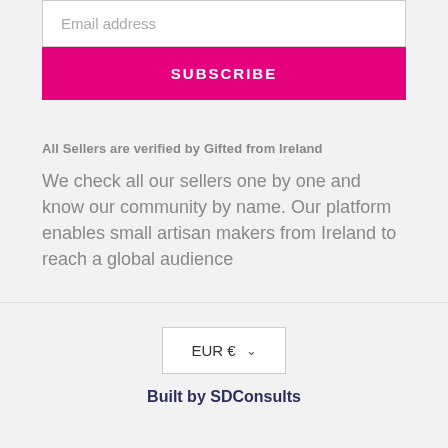Email address
SUBSCRIBE
All Sellers are verified by Gifted from Ireland
We check all our sellers one by one and know our community by name. Our platform enables small artisan makers from Ireland to reach a global audience
EUR €
Built by SDConsults